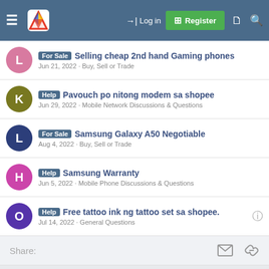Log in | Register
For Sale Selling cheap 2nd hand Gaming phones · Jun 21, 2022 · Buy, Sell or Trade
Help Pavouch po nitong modem sa shopee · Jun 29, 2022 · Mobile Network Discussions & Questions
For Sale Samsung Galaxy A50 Negotiable · Aug 4, 2022 · Buy, Sell or Trade
Help Samsung Warranty · Jun 5, 2022 · Mobile Phone Discussions & Questions
Help Free tattoo ink ng tattoo set sa shopee. · Jul 14, 2022 · General Questions
Share:
POPULAR ON THIS FORUM